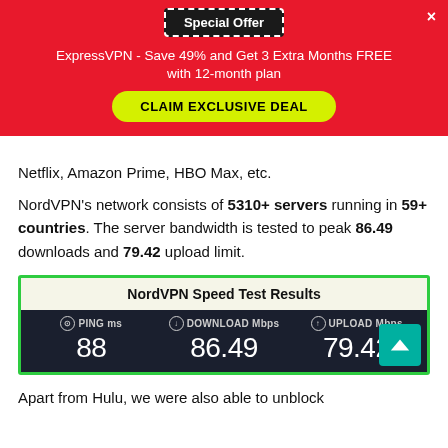[Figure (screenshot): Special Offer popup banner for ExpressVPN with red background, showing 'Special Offer' badge, offer text, and yellow 'CLAIM EXCLUSIVE DEAL' button]
Netflix, Amazon Prime, HBO Max, etc.
NordVPN's network consists of 5310+ servers running in 59+ countries. The server bandwidth is tested to peak 86.49 downloads and 79.42 upload limit.
| NordVPN Speed Test Results |
| --- |
| PING ms: 88 | DOWNLOAD Mbps: 86.49 | UPLOAD Mbps: 79.42 |
Apart from Hulu, we were also able to unblock